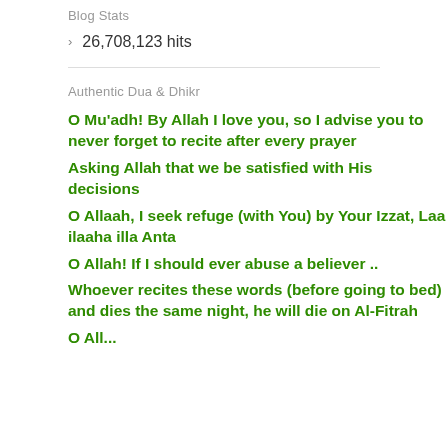Blog Stats
> 26,708,123 hits
Authentic Dua & Dhikr
O Mu'adh! By Allah I love you, so I advise you to never forget to recite after every prayer
Asking Allah that we be satisfied with His decisions
O Allaah, I seek refuge (with You) by Your Izzat, Laa ilaaha illa Anta
O Allah! If I should ever abuse a believer ..
Whoever recites these words (before going to bed) and dies the same night, he will die on Al-Fitrah
O Alla...